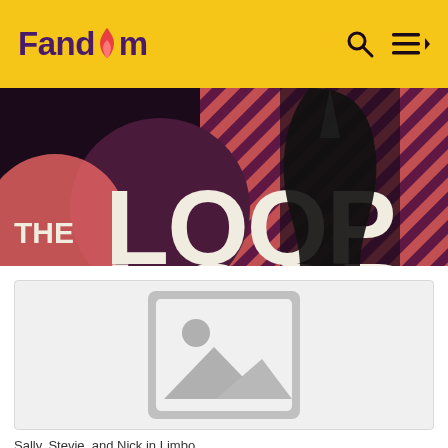Fandom
[Figure (illustration): The Loop banner image with dark robed figure, coral/salmon diagonal stripe background, 'THE LOOP' text overlay with large circle graphic]
[Figure (photo): Placeholder image icon (grey image placeholder with mountain and sun symbol)]
Sally, Stevie, and Nick in Limbo.